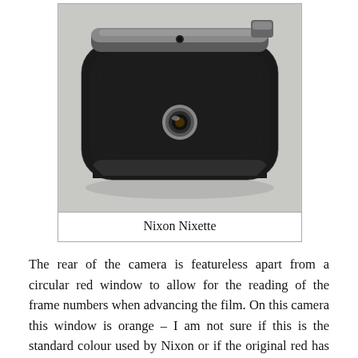[Figure (photo): Rear view of a Nixon Nixette camera showing black leatherette body with a circular metal eyelet/window in the center, silver metal top plate with small round hole, on a light grey background.]
Nixon Nixette
The rear of the camera is featureless apart from a circular red window to allow for the reading of the frame numbers when advancing the film. On this camera this window is orange – I am not sure if this is the standard colour used by Nixon or if the original red has faded. The rear door is